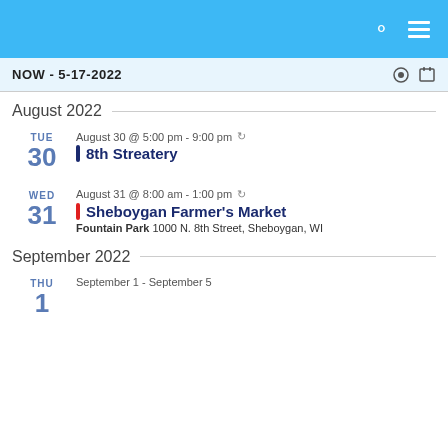NOW - 5-17-2022
August 2022
TUE 30 — August 30 @ 5:00 pm - 9:00 pm
8th Streatery
WED 31 — August 31 @ 8:00 am - 1:00 pm
Sheboygan Farmer's Market
Fountain Park 1000 N. 8th Street, Sheboygan, WI
September 2022
THU 1 — September 1 - September 5